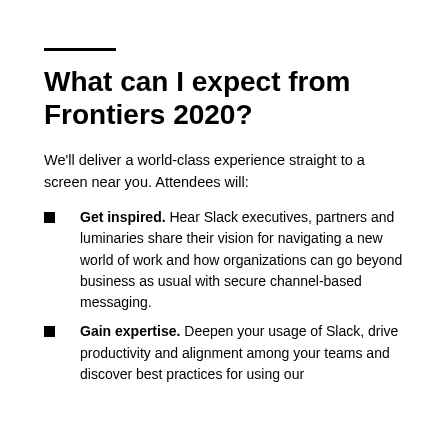What can I expect from Frontiers 2020?
We'll deliver a world-class experience straight to a screen near you. Attendees will:
Get inspired. Hear Slack executives, partners and luminaries share their vision for navigating a new world of work and how organizations can go beyond business as usual with secure channel-based messaging.
Gain expertise. Deepen your usage of Slack, drive productivity and alignment among your teams and discover best practices for using our